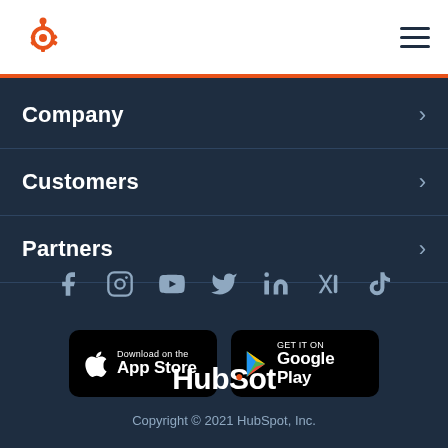[Figure (logo): HubSpot sprocket logo in orange, top left of white header bar]
[Figure (illustration): Hamburger menu icon (three horizontal lines) in dark blue, top right of white header bar]
Company
Customers
Partners
[Figure (illustration): Social media icons row: Facebook, Instagram, YouTube, Twitter, LinkedIn, Medium/Podcast, TikTok — all in muted blue-grey]
[Figure (illustration): App Store download badge (black rounded rectangle with Apple logo and 'Download on the App Store' text)]
[Figure (illustration): Google Play badge (black rounded rectangle with Google Play triangle logo and 'GET IT ON Google Play' text)]
HubSpot
Copyright © 2021 HubSpot, Inc.